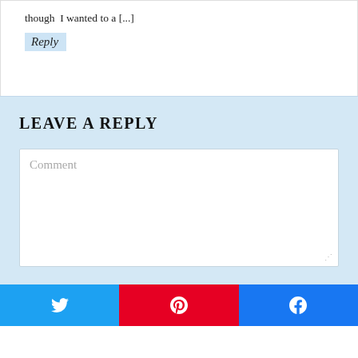though I wanted to a [...]
Reply
LEAVE A REPLY
Comment
[Figure (infographic): Social share buttons row: Twitter (light blue), Pinterest (red), Facebook (dark blue)]